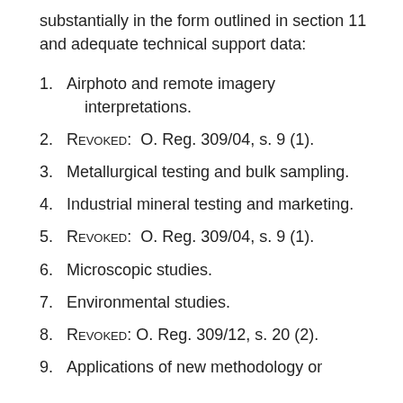substantially in the form outlined in section 11 and adequate technical support data:
1. Airphoto and remote imagery interpretations.
2. Revoked: O. Reg. 309/04, s. 9 (1).
3. Metallurgical testing and bulk sampling.
4. Industrial mineral testing and marketing.
5. Revoked: O. Reg. 309/04, s. 9 (1).
6. Microscopic studies.
7. Environmental studies.
8. Revoked: O. Reg. 309/12, s. 20 (2).
9. Applications of new methodology or